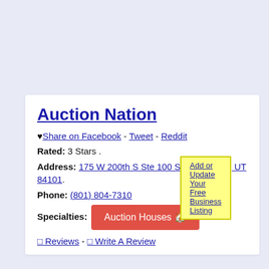Add or Update Your Free Business Listing
Auction Nation
♥ Share on Facebook - Tweet - Reddit
Rated: 3 Stars .
Address: 175 W 200th S Ste 100 Salt Lake City, UT 84101.
Phone: (801) 804-7310
Specialties: Auction Houses 🏠 .
0 Reviews - 0 Write A Review